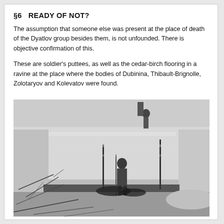§6   READY OF NOT?
The assumption that someone else was present at the place of death of the Dyatlov group besides them, is not unfounded. There is objective confirmation of this.
These are soldier's puttees, as well as the cedar-birch flooring in a ravine at the place where the bodies of Dubinina, Thibault-Brignolle, Zolotaryov and Kolevatov were found.
[Figure (photo): Black and white photograph of a snow excavation site. A person stands in a deep snow pit with vertical poles. Sparse branches visible in foreground. Another figure visible at top of pit. Dark items/debris on the snowy ground.]